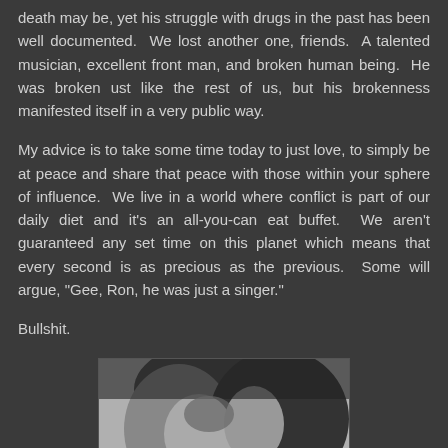death may be, yet his struggle with drugs in the past has been well documented.  We lost another one, friends.  A talented musician, excellent front man, and broken human being.  He was broken ust like the rest of us, but his brokenness manifested itself in a very public way.
My advice is to take some time today to just love, to simply be at peace and share that peace with those within your sphere of influence.  We live in a world where conflict is part of our daily diet and it's an all-you-can eat buffet.  We aren't guaranteed any set time on this planet which means that every second is as precious as the previous.  Some will argue, "Gee, Ron, he was just a singer."
Bullshit.
[Figure (photo): Black and white photo of two people embracing/kissing closely, with text partially visible at the bottom]